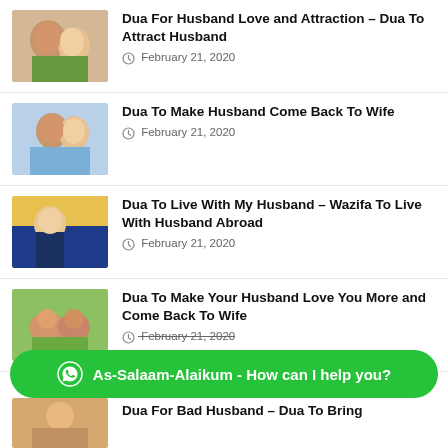[Figure (photo): Couple embracing outdoors]
Dua For Husband Love and Attraction – Dua To Attract Husband
February 21, 2020
[Figure (photo): Couple smiling together]
Dua To Make Husband Come Back To Wife
February 21, 2020
[Figure (photo): Woman in hijab with man]
Dua To Live With My Husband – Wazifa To Live With Husband Abroad
February 21, 2020
[Figure (photo): Couple holding hands outdoors]
Dua To Make Your Husband Love You More and Come Back To Wife
February 21, 2020
As-Salaam-Alaikum - How can I help you?
[Figure (photo): Couple partially visible at bottom]
Dua For Bad Husband – Dua To Bring